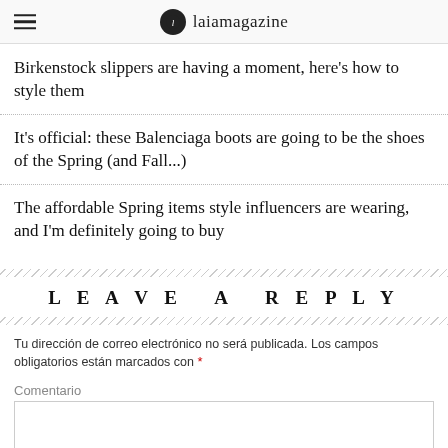laiamagazine
Birkenstock slippers are having a moment, here's how to style them
It's official: these Balenciaga boots are going to be the shoes of the Spring (and Fall...)
The affordable Spring items style influencers are wearing, and I'm definitely going to buy
LEAVE A REPLY
Tu dirección de correo electrónico no será publicada. Los campos obligatorios están marcados con *
Comentario